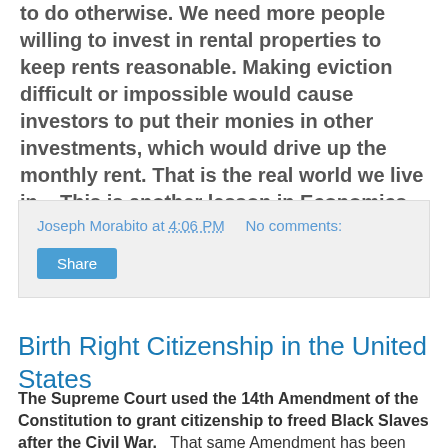to do otherwise. We need more people willing to invest in rental properties to keep rents reasonable. Making eviction difficult or impossible would cause investors to put their monies in other investments, which would drive up the monthly rent. That is the real world we live in. This is another lesson in Economics 101.
Joseph Morabito at 4:06 PM   No comments:
Share
Birth Right Citizenship in the United States
The Supreme Court used the 14th Amendment of the Constitution to grant citizenship to freed Black Slaves after the Civil War. That same Amendment has been applied to anyone born in the United States, even if his or her parents are not citizens of the United States. The end result has been illegal aliens coming to the US to have babies to get them automatic citizenship, the so-called